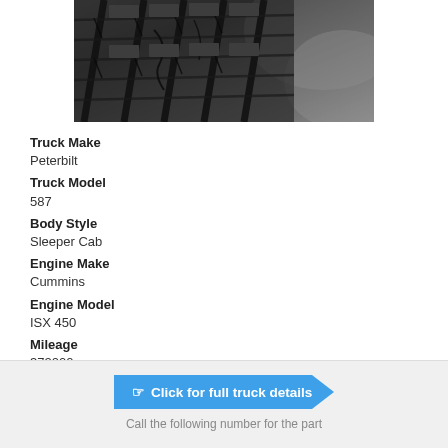[Figure (photo): Close-up photo of a truck tire tread showing worn rubber with cracks and grooves on dark asphalt surface.]
Truck Make
Peterbilt
Truck Model
587
Body Style
Sleeper Cab
Engine Make
Cummins
Engine Model
ISX 450
Mileage
372000
Click for full truck details
Call the following number for the part